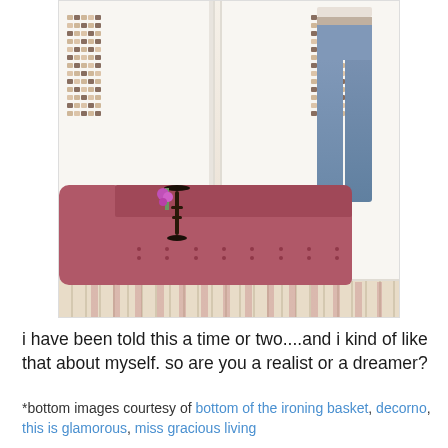[Figure (photo): A glamorous walk-in closet with floor-to-ceiling shelves filled with shoes, white cabinet doors, a pink/mauve tufted chaise lounge sofa, a small ornate side table with purple flowers, and a pair of blue jeans hanging on a mannequin stand. Patterned floor rug visible.]
i have been told this a time or two....and i kind of like that about myself. so are you a realist or a dreamer?
*bottom images courtesy of bottom of the ironing basket, decorno, this is glamorous, miss gracious living